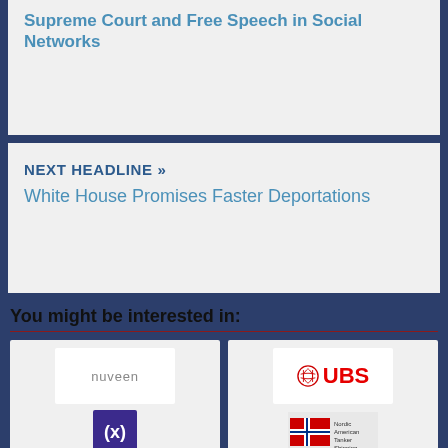Supreme Court and Free Speech in Social Networks
NEXT HEADLINE »
White House Promises Faster Deportations
You might be interested in:
[Figure (logo): Nuveen logo]
Nuveen Core Equity Alpha Fund Short Interest Update
[Figure (logo): UBS logo]
Short Interest in UBS Group AG Drops By 24.7%
[Figure (logo): dE (Dimensional) logo]
[Figure (logo): Nordic American Tanker Shipping logo]